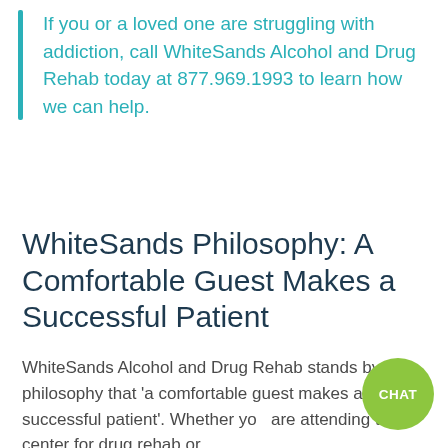If you or a loved one are struggling with addiction, call WhiteSands Alcohol and Drug Rehab today at 877.969.1993 to learn how we can help.
WhiteSands Philosophy: A Comfortable Guest Makes a Successful Patient
WhiteSands Alcohol and Drug Rehab stands by our philosophy that 'a comfortable guest makes a successful patient'. Whether you are attending the center for drug rehab or